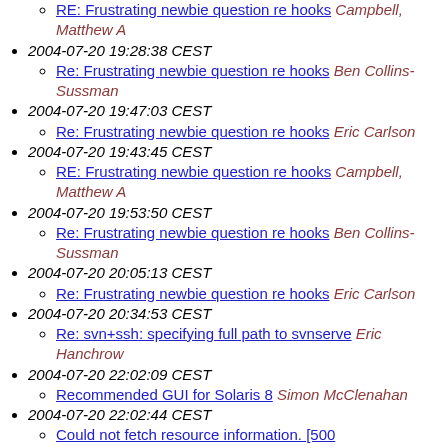RE: Frustrating newbie question re hooks Campbell, Matthew A
2004-07-20 19:28:38 CEST
Re: Frustrating newbie question re hooks Ben Collins-Sussman
2004-07-20 19:47:03 CEST
Re: Frustrating newbie question re hooks Eric Carlson
2004-07-20 19:43:45 CEST
RE: Frustrating newbie question re hooks Campbell, Matthew A
2004-07-20 19:53:50 CEST
Re: Frustrating newbie question re hooks Ben Collins-Sussman
2004-07-20 20:05:13 CEST
Re: Frustrating newbie question re hooks Eric Carlson
2004-07-20 20:34:53 CEST
Re: svn+ssh: specifying full path to svnserve Eric Hanchrow
2004-07-20 22:02:09 CEST
Recommended GUI for Solaris 8 Simon McClenahan
2004-07-20 22:02:44 CEST
Could not fetch resource information. [500